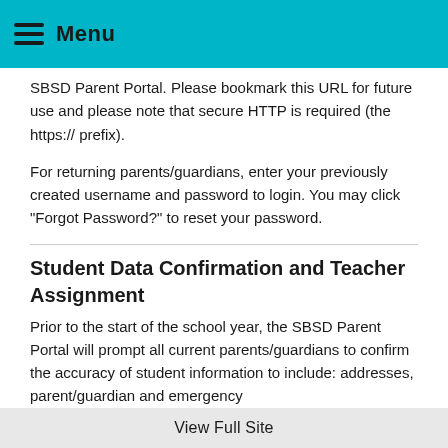Menu
SBSD Parent Portal. Please bookmark this URL for future use and please note that secure HTTP is required (the https:// prefix).
For returning parents/guardians, enter your previously created username and password to login. You may click "Forgot Password?" to reset your password.
Student Data Confirmation and Teacher Assignment
Prior to the start of the school year, the SBSD Parent Portal will prompt all current parents/guardians to confirm the accuracy of student information to include: addresses, parent/guardian and emergency
View Full Site